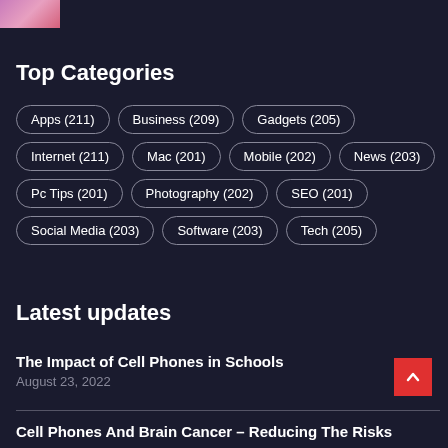[Figure (photo): Partial thumbnail image at top left corner]
Top Categories
Apps (211)
Business (209)
Gadgets (205)
Internet (211)
Mac (201)
Mobile (202)
News (203)
Pc Tips (201)
Photography (202)
SEO (201)
Social Media (203)
Software (203)
Tech (205)
Latest updates
The Impact of Cell Phones in Schools
August 23, 2022
Cell Phones And Brain Cancer – Reducing The Risks